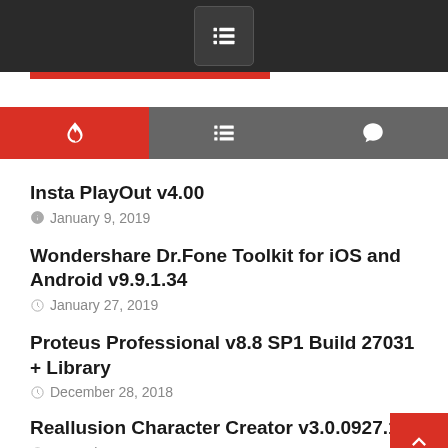Navigation menu header bar with hamburger icon
[Figure (screenshot): Tab navigation bar with three icons: flame (active, red), list, and chat bubble]
Insta PlayOut v4.00
January 9, 2019
Wondershare Dr.Fone Toolkit for iOS and Android v9.9.1.34
January 27, 2019
Proteus Professional v8.8 SP1 Build 27031 + Library
December 28, 2018
Reallusion Character Creator v3.0.0927.1
December 29, 2018